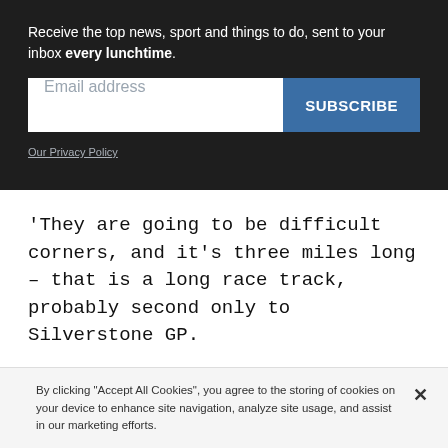Receive the top news, sport and things to do, sent to your inbox every lunchtime.
[Figure (other): Email subscription form with text input field labeled 'Email address' and a blue 'SUBSCRIBE' button]
Our Privacy Policy
'They are going to be difficult corners, and it's three miles long – that is a long race track, probably second only to Silverstone GP.
'I think the car and the bike riders are going to love it,
By clicking "Accept All Cookies", you agree to the storing of cookies on your device to enhance site navigation, analyze site usage, and assist in our marketing efforts.